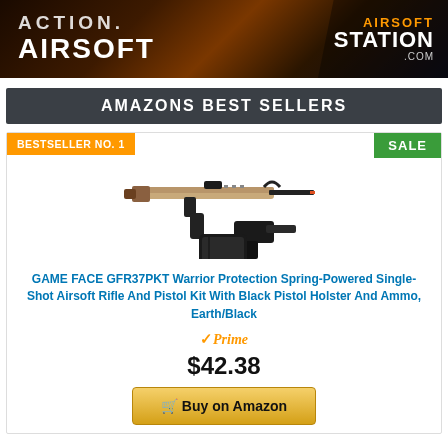[Figure (screenshot): Airsoft Station website banner with orange fire effect background, text 'ACTION. AIRSOFT' on left and 'AIRSOFT STATION .com' logo on right with hexagonal dark background]
AMAZONS BEST SELLERS
BESTSELLER NO. 1
SALE
[Figure (photo): Airsoft rifle (tan/black M4 style) and black pistol with holster kit product photo]
GAME FACE GFR37PKT Warrior Protection Spring-Powered Single-Shot Airsoft Rifle And Pistol Kit With Black Pistol Holster And Ammo, Earth/Black
Prime
$42.38
Buy on Amazon